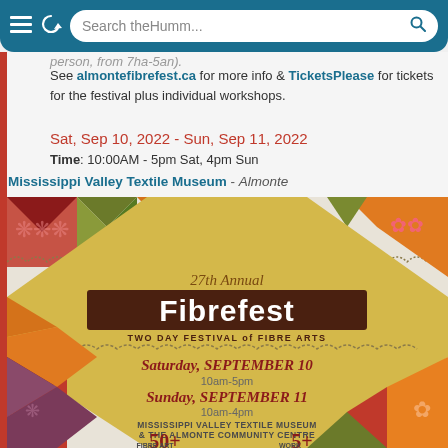Search theHumm...
person, from 7ha-5an).
See almontefibrefest.ca for more info & TicketsPlease for tickets for the festival plus individual workshops.
Sat, Sep 10, 2022 - Sun, Sep 11, 2022
Time: 10:00AM - 5pm Sat, 4pm Sun
Mississippi Valley Textile Museum - Almonte
[Figure (illustration): 27th Annual Fibrefest festival poster showing a quilt-pattern background with diamond shapes in various fabrics (orange, red, green, floral patterns). Center text reads '27th Annual Fibrefest - TWO DAY FESTIVAL of FIBRE ARTS'. Below lists Saturday September 10 10am-5pm, Sunday September 11 10am-4pm, Mississippi Valley Textile Museum & The Almonte Community Centre, 50+ Fibre Art Vendors, 5+ Work Shops.]